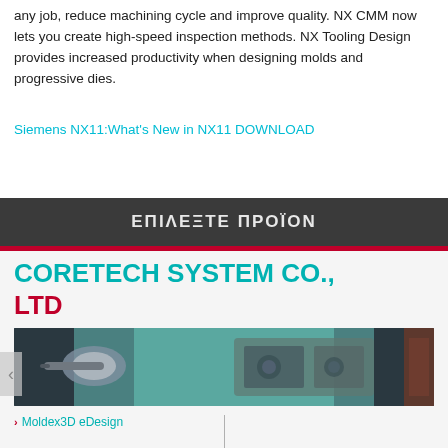any job, reduce machining cycle and improve quality. NX CMM now lets you create high-speed inspection methods. NX Tooling Design provides increased productivity when designing molds and progressive dies.
Siemens NX11:What's New in NX11 DOWNLOAD
ΕΠΙΛΕΞΤΕ ΠΡΟΪΟΝ
CORETECH SYSTEM CO., LTD
[Figure (photo): Close-up photo of machining/tooling equipment showing mechanical components and drill bits in teal/grey tones]
Moldex3D eDesign